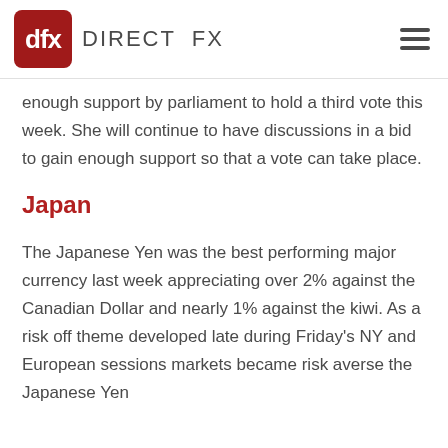dfx DIRECT FX
enough support by parliament to hold a third vote this week. She will continue to have discussions in a bid to gain enough support so that a vote can take place.
Japan
The Japanese Yen was the best performing major currency last week appreciating over 2% against the Canadian Dollar and nearly 1% against the kiwi. As a risk off theme developed late during Friday's NY and European sessions markets became risk averse the Japanese Yen